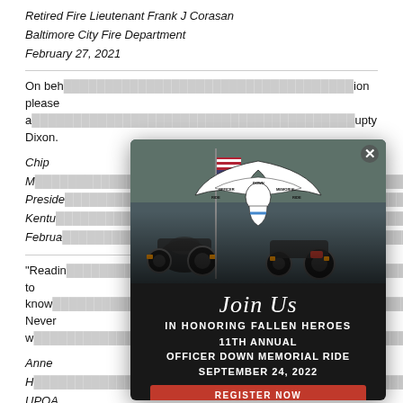Retired Fire Lieutenant Frank J Corasan
Baltimore City Fire Department
February 27, 2021
On beh[alf of the association] ion please a[ccept our condolences to] upty Dixon.
Chip M[yers]
Preside[nt]
Kentu[cky...]
Februa[ry...]
"Readi[ng about him, I feel I've gotten] to know [him...]
Never w[ill be forgotten...]
Anne H[...]
UPOA [...]
February 23, 2021
God holds him now, may all find peace
[Figure (infographic): Officer Down Memorial Ride popup modal with motorcycle photo background, eagle logo, 'Join Us IN HONORING FALLEN HEROES 11TH ANNUAL OFFICER DOWN MEMORIAL RIDE SEPTEMBER 24, 2022' and REGISTER NOW button]